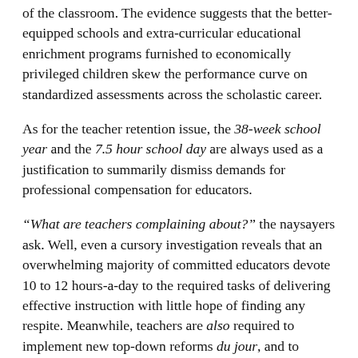of the classroom. The evidence suggests that the better-equipped schools and extra-curricular educational enrichment programs furnished to economically privileged children skew the performance curve on standardized assessments across the scholastic career.
As for the teacher retention issue, the 38-week school year and the 7.5 hour school day are always used as a justification to summarily dismiss demands for professional compensation for educators.
“What are teachers complaining about?” the naysayers ask. Well, even a cursory investigation reveals that an overwhelming majority of committed educators devote 10 to 12 hours-a-day to the required tasks of delivering effective instruction with little hope of finding any respite. Meanwhile, teachers are also required to implement new top-down reforms du jour, and to obtain an advanced degree that maintains certification for a